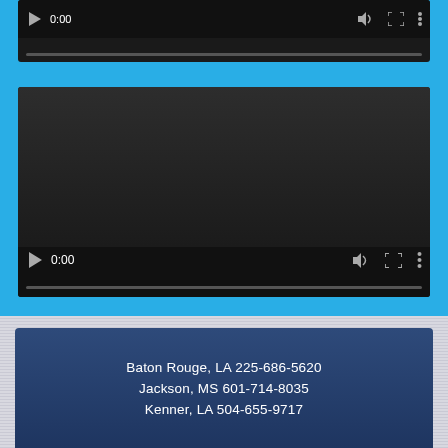[Figure (screenshot): Partial video player at top of page, showing play button, 0:00 timestamp, volume icon, fullscreen icon, and more options icon, with a grey progress bar below controls on dark background.]
[Figure (screenshot): Full video player embedded in a webpage with sky-blue background. The player has a dark grey area showing no content, with controls at bottom: play button, 0:00 timestamp, volume icon, fullscreen icon, more options icon, and a progress bar.]
Baton Rouge, LA 225-686-5620
Jackson, MS 601-714-8035
Kenner, LA 504-655-9717